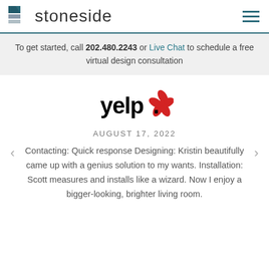[Figure (logo): Stoneside brand logo with teal/gray square icon and 'stoneside' text]
To get started, call 202.480.2243 or Live Chat to schedule a free virtual design consultation
[Figure (logo): Yelp logo in black and red]
AUGUST 17, 2022
Contacting: Quick response Designing: Kristin beautifully came up with a genius solution to my wants. Installation: Scott measures and installs like a wizard. Now I enjoy a bigger-looking, brighter living room.